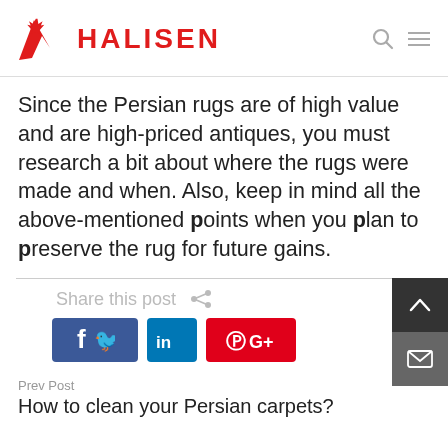HALISEN
Since the Persian rugs are of high value and are high-priced antiques, you must research a bit about where the rugs were made and when. Also, keep in mind all the above-mentioned points when you plan to preserve the rug for future gains.
Share this post
[Figure (infographic): Social share buttons: Facebook, Twitter, LinkedIn, Pinterest, Google+]
Prev Post
How to clean your Persian carpets?